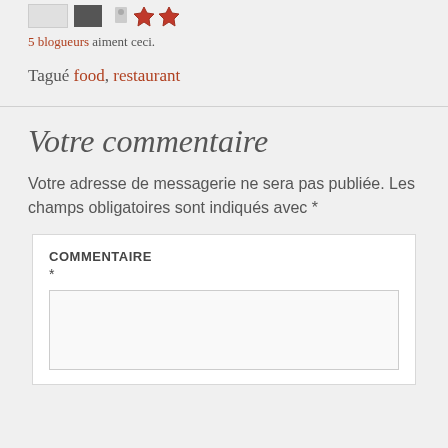[Figure (other): Row of avatar/profile images and social icons at the top of the page]
5 blogueurs aiment ceci.
Tagué food, restaurant
Votre commentaire
Votre adresse de messagerie ne sera pas publiée. Les champs obligatoires sont indiqués avec *
COMMENTAIRE *